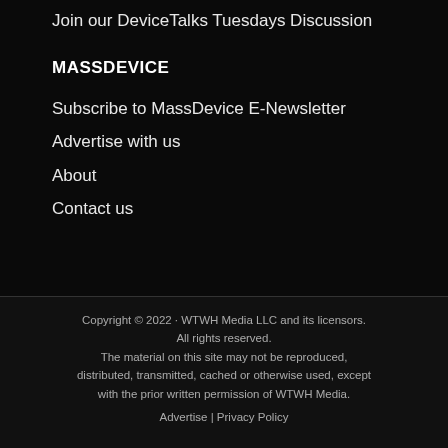Join our DeviceTalks Tuesdays Discussion
MASSDEVICE
Subscribe to MassDevice E-Newsletter
Advertise with us
About
Contact us
Copyright © 2022 · WTWH Media LLC and its licensors. All rights reserved. The material on this site may not be reproduced, distributed, transmitted, cached or otherwise used, except with the prior written permission of WTWH Media. Advertise | Privacy Policy